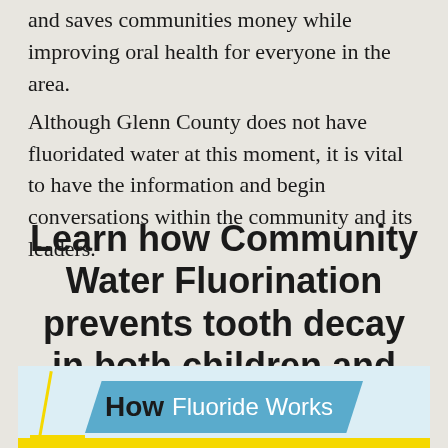and saves communities money while improving oral health for everyone in the area. Although Glenn County does not have fluoridated water at this moment, it is vital to have the information and begin conversations within the community and its leaders.
Learn how Community Water Fluorination prevents tooth decay in both children and adults:
[Figure (infographic): Blue banner infographic element with yellow accent lines reading 'How Fluoride Works' on a light blue background]